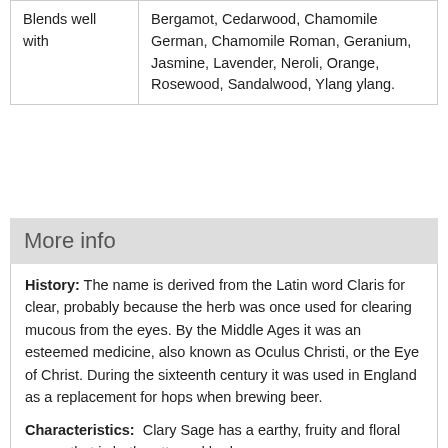| Blends well with | Bergamot, Cedarwood, Chamomile German, Chamomile Roman, Geranium, Jasmine, Lavender, Neroli, Orange, Rosewood, Sandalwood, Ylang ylang. |
More info
History: The name is derived from the Latin word Claris for clear, probably because the herb was once used for clearing mucous from the eyes. By the Middle Ages it was an esteemed medicine, also known as Oculus Christi, or the Eye of Christ. During the sixteenth century it was used in England as a replacement for hops when brewing beer.
Characteristics: Clary Sage has a earthy, fruity and floral aroma that is both nutty and herbaceous.
Clinical Studies:
Indications: Clary Sage Essential Oil is viewed by aromatherapists as an antidepressant, antispasmodic, deodorant, emmenagogue, nervine, sedative, and uterine tonic. It is thought to provide a mild euphoric action, balancing uterine problems, and as an agent to clean greasy hair. There